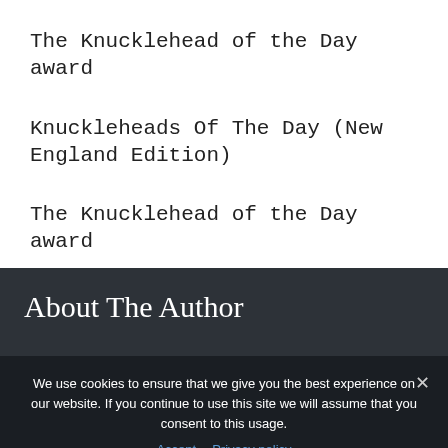The Knucklehead of the Day award
Knuckleheads Of The Day (New England Edition)
The Knucklehead of the Day award
About The Author
We use cookies to ensure that we give you the best experience on our website. If you continue to use this site we will assume that you consent to this usage.
Accept  Privacy policy